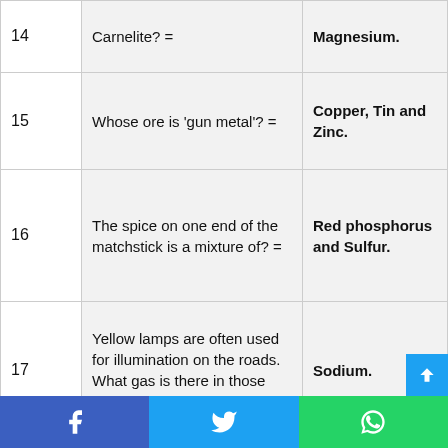| # | Question | Answer |
| --- | --- | --- |
| 14 | Carnelite? = | Magnesium. |
| 15 | Whose ore is 'gun metal'? = | Copper, Tin and Zinc. |
| 16 | The spice on one end of the matchstick is a mixture of? = | Red phosphorus and Sulfur. |
| 17 | Yellow lamps are often used for illumination on the roads. What gas is there in those lamps? = | Sodium. |
| 18 | Which organic ... |  |